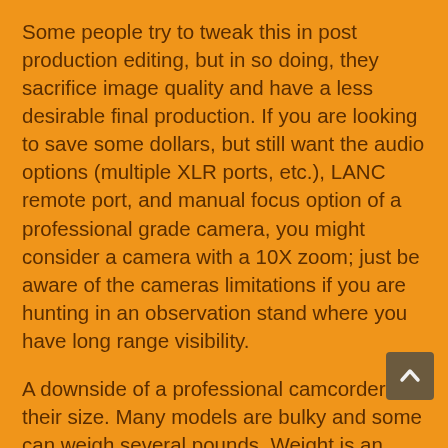Some people try to tweak this in post production editing, but in so doing, they sacrifice image quality and have a less desirable final production.  If you are looking to save some dollars, but still want the audio options (multiple XLR ports, etc.), LANC remote port, and manual focus option of a professional grade camera, you might consider a camera with a 10X zoom; just be aware of the cameras limitations if you are hunting in an observation stand where you have long range visibility.
A downside of a professional camcorder is their size.  Many models are bulky and some can weigh several pounds.  Weight is an important consideration if you hunt remote areas.  It is also necessary to consider what the weight capacity of your camera arm is.  Higher end professional cameras may require more substantial camera arms, which...